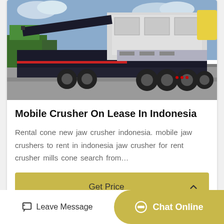[Figure (photo): Mobile crusher machine on a flatbed truck/trailer, parked outdoors. Large industrial jaw crusher mounted on a heavy-duty multi-axle trailer in a paved yard with trees and sky in background.]
Mobile Crusher On Lease In Indonesia
Rental cone new jaw crusher indonesia. mobile jaw crushers to rent in indonesia jaw crusher for rent crusher mills cone search from…
Get Price
Leave Message
Chat Online